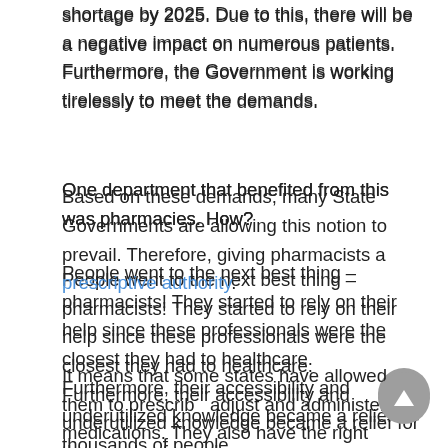shortage by 2025. Due to this, there will be a negative impact on numerous patients. Furthermore, the Government is working tirelessly to meet the demands.
One department that benefited from this was pharmacies. How?
People went to the next best thing – pharmacists! They started to rely on their help since these professionals were the closest they had to healthcare. Furthermore, their accessibility and underutilized knowledge became a relief for thousands of people.
Based on these demands, many State Governments are allowing this notion to prevail. Therefore, giving pharmacists a prescriptive authority.
It means that some states have allowed them to prescribe, adjust and administer medications. They also have the right to...